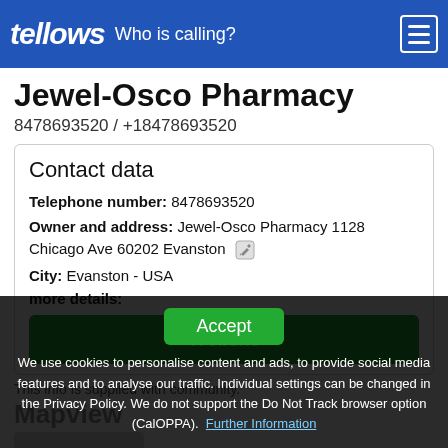tellows — Who is calling?
Jewel-Osco Pharmacy
8478693520 / +18478693520
Contact data
Telephone number: 8478693520
Owner and address: Jewel-Osco Pharmacy 1128 Chicago Ave 60202 Evanston
City: Evanston - USA
more details:
Website
This info is supplied with community.
Mapview
Accept
We use cookies to personalise content and ads, to provide social media features and to analyse our traffic. Individual settings can be changed in the Privacy Policy. We do not support the Do Not Track browser option (CalOPPA). Further Information